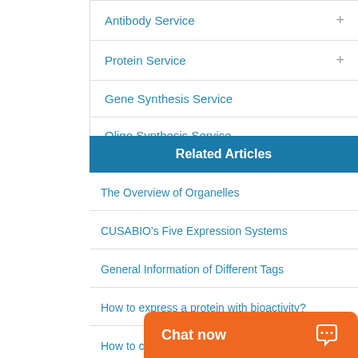Antibody Service
Protein Service
Gene Synthesis Service
Oligo Synthesis Service
Related Articles
The Overview of Organelles
CUSABIO's Five Expression Systems
General Information of Different Tags
How to express a protein with bioactivity?
How to c…
Chat now